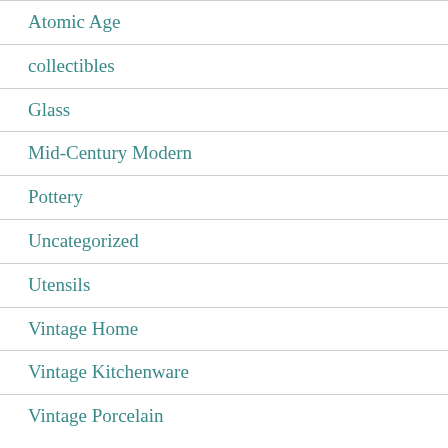Atomic Age
collectibles
Glass
Mid-Century Modern
Pottery
Uncategorized
Utensils
Vintage Home
Vintage Kitchenware
Vintage Porcelain